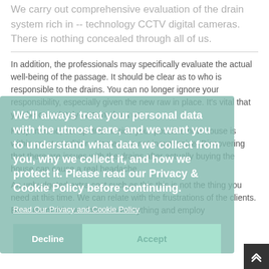We carry out comprehensive evaluation of the drain system rich in -- technology CCTV digital cameras. There is nothing concealed through all of us.
In addition, the professionals may specifically evaluate the actual well-being of the passage. It should be clear as to who is responsible to the drains. You can no longer ignore your responsibility, especially given the new raw in place. It's vital that you be completely certain about us.
Keep in mind, set up drain inside your possible new house is within great condition. Homes are not inexpensive. Discovering that there are issues with the drains after actually buying the house can cause a real headache.
An unbudgeted extra cost such as this this is not the thing you need at this time. We can relate with the frustrations of the clients. Because of this, we focus on everything and employ...
[Figure (screenshot): Cookie/Privacy policy consent overlay banner with teal/green background. Contains heading 'We'll always treat your personal data with the utmost care, and we want you to understand what data we collect from you, why we collect it, and how we protect it. Please read our Privacy & Cookie Policy before continuing.' with a link 'Read Our Privacy and Cookie Policy', and two buttons: 'Decline' and 'Accept'.]